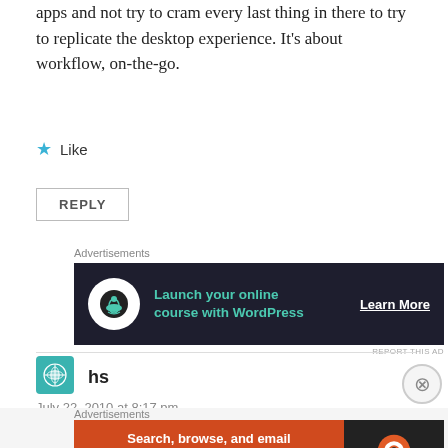apps and not try to cram every last thing in there to try to replicate the desktop experience. It's about workflow, on-the-go.
Like
REPLY
Advertisements
[Figure (other): Advertisement banner: Launch your online course with WordPress - Learn More]
REPORT THIS AD
hs
July 22, 2010 at 8:17 pm
Advertisements
[Figure (other): Advertisement banner: Search, browse, and email with more privacy. All in One Free App - DuckDuckGo]